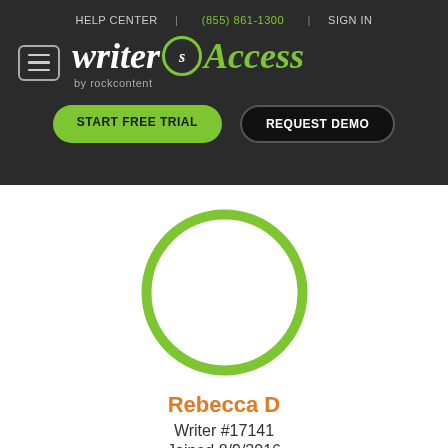HELP CENTER | (855) 861-1300 | SIGN IN
[Figure (logo): WriterAccess by rockcontent logo with hamburger menu button]
START FREE TRIAL
REQUEST DEMO
[Figure (illustration): Empty circular avatar placeholder with green border]
Rebecca D
Writer #17141
Joined 8/9/2016